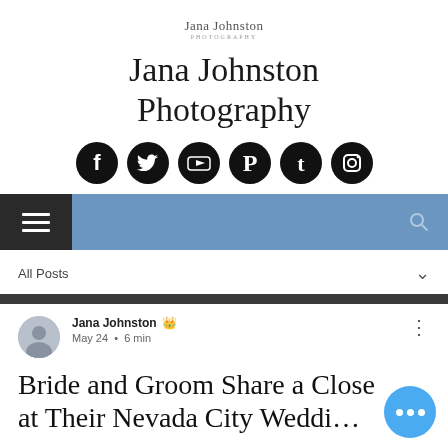[Figure (logo): Jana Johnston Photography cursive signature logo]
Jana Johnston Photography
[Figure (infographic): Row of six social media icons: Facebook, Twitter, YouTube, Pinterest, Tumblr, Instagram — all black circles with white logos]
[Figure (screenshot): Navigation bar: dark hamburger menu button on left, blue bar extending to right with search icon]
All Posts
Bride and Groom Share a Close at Their Nevada City Wedding